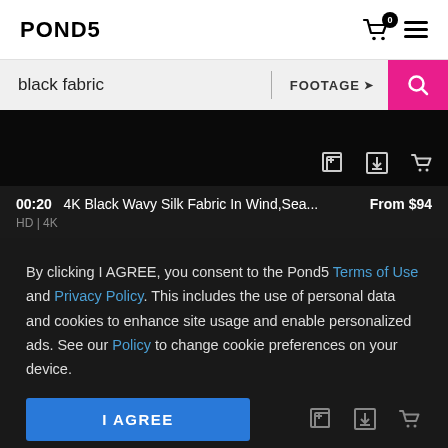POND5
black fabric | FOOTAGE
[Figure (screenshot): Video thumbnail — dark/black fabric video card with action icons (add to collection, download, cart)]
00:20  4K Black Wavy Silk Fabric In Wind,Sea...  From $94
HD | 4K
By clicking I AGREE, you consent to the Pond5 Terms of Use and Privacy Policy. This includes the use of personal data and cookies to enhance site usage and enable personalized ads. See our Policy to change cookie preferences on your device.
I AGREE
00:15  Black Wavy Fabric Motion Backgroun...  From $44